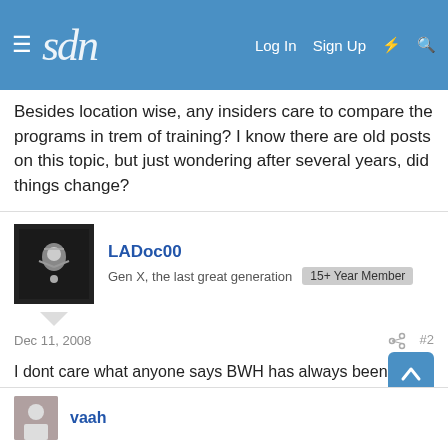sdn — Log In  Sign Up
Besides location wise, any insiders care to compare the programs in trem of training? I know there are old posts on this topic, but just wondering after several years, did things change?
LADoc00
Gen X, the last great generation  15+ Year Member
Dec 11, 2008  #2
I dont care what anyone says BWH has always been "the" research path program. I dont think they care much about landing you a sweet gig in a privat group in Malibu as say UCLA and Stanford might but instead focus on getting you into a high powered lab asap.

Im biased, I think BWH is the best program in the country but not for reasons one might think (as in not for research at al
vaah